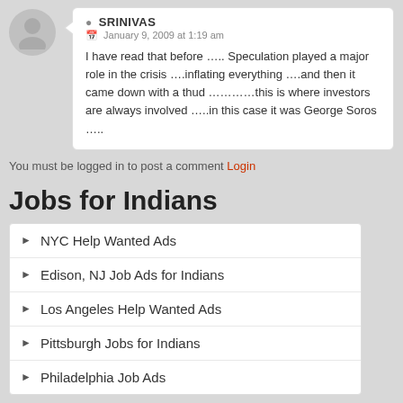[Figure (illustration): User avatar - grey silhouette of a person on a grey circular background]
SRINIVAS
January 9, 2009 at 1:19 am
I have read that before ….. Speculation played a major role in the crisis ….inflating everything ….and then it came down with a thud …………this is where investors are always involved …..in this case it was George Soros …..
You must be logged in to post a comment Login
Jobs for Indians
NYC Help Wanted Ads
Edison, NJ Job Ads for Indians
Los Angeles Help Wanted Ads
Pittsburgh Jobs for Indians
Philadelphia Job Ads